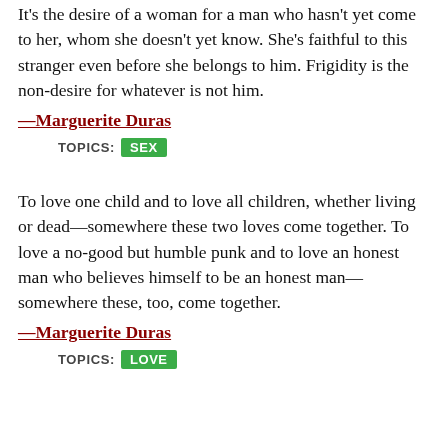It's the desire of a woman for a man who hasn't yet come to her, whom she doesn't yet know. She's faithful to this stranger even before she belongs to him. Frigidity is the non-desire for whatever is not him.
—Marguerite Duras
TOPICS: SEX
To love one child and to love all children, whether living or dead—somewhere these two loves come together. To love a no-good but humble punk and to love an honest man who believes himself to be an honest man—somewhere these, too, come together.
—Marguerite Duras
TOPICS: LOVE